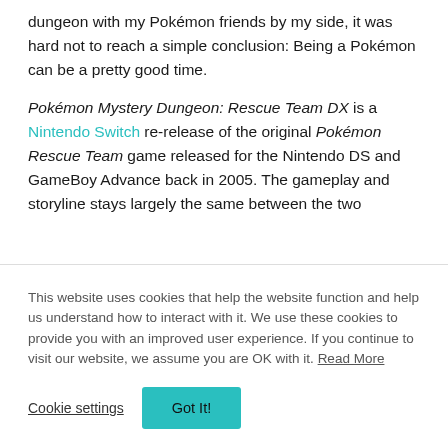dungeon with my Pokémon friends by my side, it was hard not to reach a simple conclusion: Being a Pokémon can be a pretty good time.
Pokémon Mystery Dungeon: Rescue Team DX is a Nintendo Switch re-release of the original Pokémon Rescue Team game released for the Nintendo DS and GameBoy Advance back in 2005. The gameplay and storyline stays largely the same between the two
This website uses cookies that help the website function and help us understand how to interact with it. We use these cookies to provide you with an improved user experience. If you continue to visit our website, we assume you are OK with it. Read More
Cookie settings | Got It!